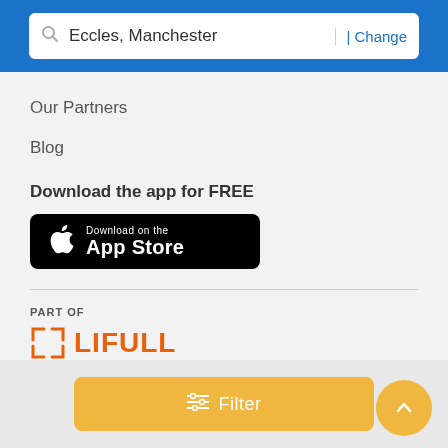Eccles, Manchester | Change
Our Partners
Blog
Download the app for FREE
[Figure (logo): Download on the App Store button - black rounded rectangle with Apple logo and text 'Download on the App Store']
[Figure (logo): LIFULL CONNECT logo - orange bracket icon followed by LIFULL in orange bold text, with LIFULL CONNECT in black below]
Filter